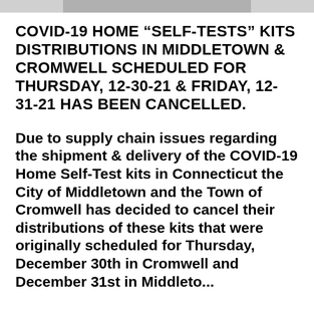[Figure (photo): Partial image visible at top of page, cropped]
COVID-19 HOME “SELF-TESTS” KITS DISTRIBUTIONS IN MIDDLETOWN & CROMWELL SCHEDULED FOR THURSDAY, 12-30-21 & FRIDAY, 12-31-21 HAS BEEN CANCELLED.
Due to supply chain issues regarding the shipment & delivery of the COVID-19 Home Self-Test kits in Connecticut the City of Middletown and the Town of Cromwell has decided to cancel their distributions of these kits that were originally scheduled for Thursday, December 30th in Cromwell and December 31st in Middletown.